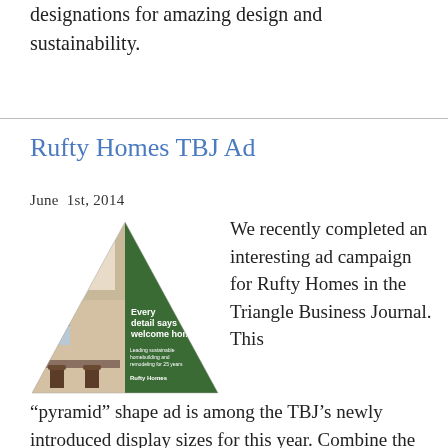designations for amazing design and sustainability.
Rufty Homes TBJ Ad
June 1st, 2014
[Figure (illustration): Pyramid-shaped advertisement for Rufty Homes featuring a kitchen interior photo on the left half and a green triangle on the right with text 'Every detail says welcome home.' and 'Leading sustainable homebuilding and remodeling for 25 years' with Rufty Homes logo at the bottom.]
We recently completed an interesting ad campaign for Rufty Homes in the Triangle Business Journal. This “pyramid” shape ad is among the TBJ’s newly introduced display sizes for this year. Combine the unique shape with Rufty’s spectacular, award-winning kitchen built for